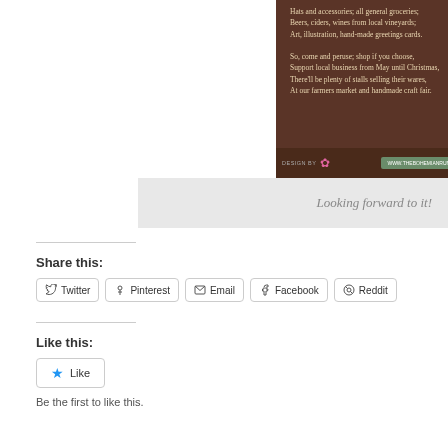[Figure (illustration): Brown banner with poem text about farmers market and craft fair, footer with design credit, website URL, and Facebook badge]
Looking forward to it!
Share this:
Twitter
Pinterest
Email
Facebook
Reddit
Like this:
Like
Be the first to like this.